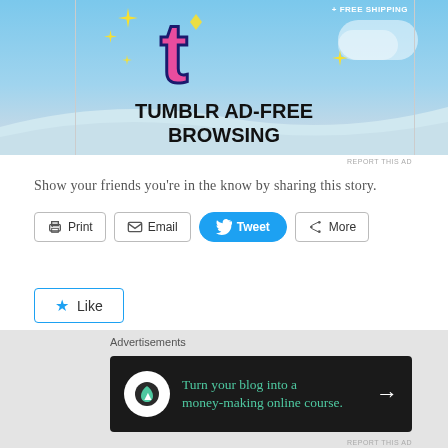[Figure (illustration): Tumblr ad banner showing the Tumblr 't' logo with sparkles on a blue sky background, with text 'TUMBLR AD-FREE BROWSING' and '+ FREE SHIPPING' in the corner]
Show your friends you're in the know by sharing this story.
[Figure (screenshot): Social sharing buttons: Print, Email, Tweet (blue), More]
[Figure (screenshot): Like button with star icon]
Be the first to like this.
Advertisements
[Figure (illustration): Dark advertisement banner: 'Turn your blog into a money-making online course.' with arrow button]